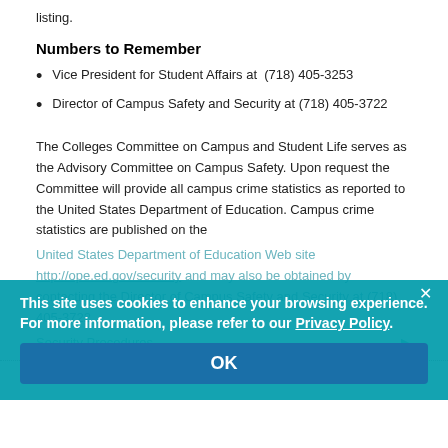listing.
Numbers to Remember
Vice President for Student Affairs at  (718) 405-3253
Director of Campus Safety and Security at (718) 405-3722
The Colleges Committee on Campus and Student Life serves as the Advisory Committee on Campus Safety. Upon request the Committee will provide all campus crime statistics as reported to the United States Department of Education. Campus crime statistics are published on the United States Department of Education Web site http://ope.ed.gov/security and may also be obtained by contacting the Director of Campus Safety and Security at (718) 405-3722.
Security Procedures
This site uses cookies to enhance your browsing experience. For more information, please refer to our Privacy Policy.